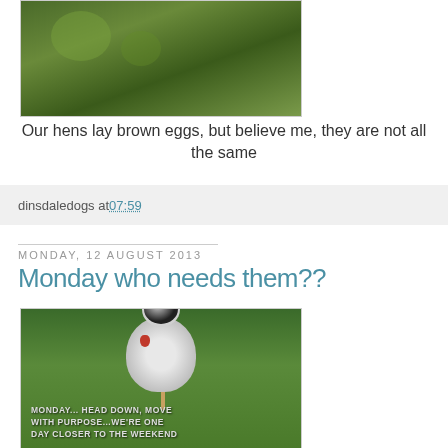[Figure (photo): Photo of green garden ground with plants and leaves]
Our hens lay brown eggs, but believe me, they are not all the same
dinsdaledogs at 07:59
Monday, 12 August 2013
Monday who needs them??
[Figure (photo): Photo of a white speckled chicken walking on grass with text overlay: MONDAY... HEAD DOWN, MOVE WITH PURPOSE...WE'RE ONE DAY CLOSER TO THE WEEKEND]